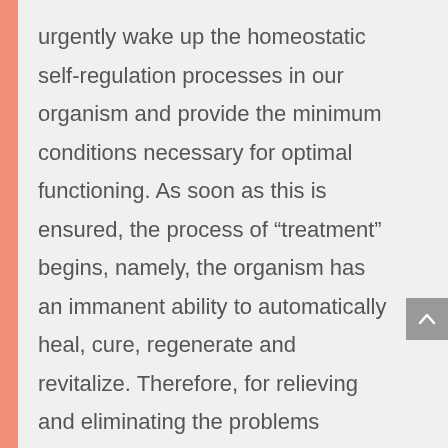urgently wake up the homeostatic self-regulation processes in our organism and provide the minimum conditions necessary for optimal functioning. As soon as this is ensured, the process of “treatment” begins, namely, the organism has an immanent ability to automatically heal, cure, regenerate and revitalize. Therefore, for relieving and eliminating the problems caused by leukemia, it is extremely important to start BioQuantum Bioenergy therapy as soon as possible (learn more on the following link: